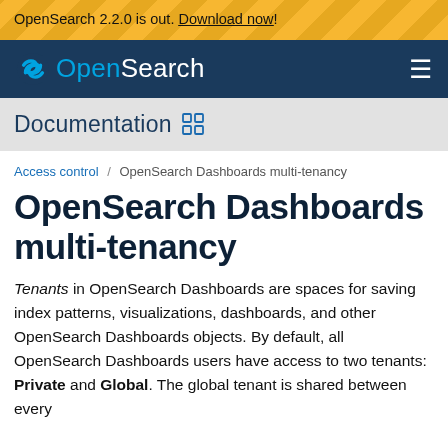OpenSearch 2.2.0 is out. Download now!
[Figure (logo): OpenSearch logo and navigation bar with hamburger menu]
Documentation
Access control / OpenSearch Dashboards multi-tenancy
OpenSearch Dashboards multi-tenancy
Tenants in OpenSearch Dashboards are spaces for saving index patterns, visualizations, dashboards, and other OpenSearch Dashboards objects. By default, all OpenSearch Dashboards users have access to two tenants: Private and Global. The global tenant is shared between every